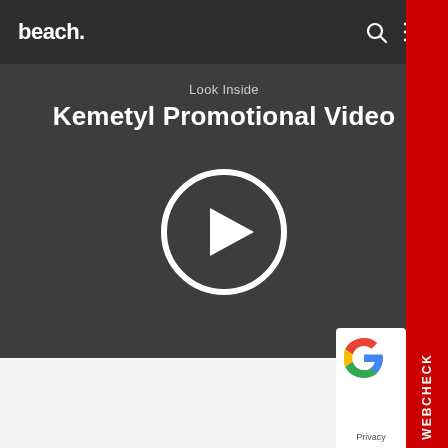beach.
Look Inside
Kemetyl Promotional Video
[Figure (other): Video play button icon: white circle outline with a white play triangle in the center, on dark grey background]
WEBCHECK